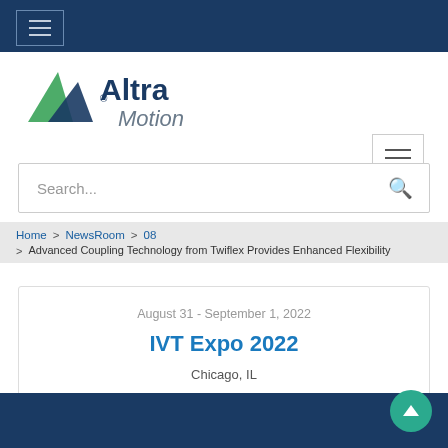Altra Motion website header with hamburger menu
[Figure (logo): Altra Motion logo — green/blue triangle arrow mark with 'Altra' in dark blue bold and 'Motion' in grey italic]
Search...
Home > NewsRoom > 08 > Advanced Coupling Technology from Twiflex Provides Enhanced Flexibility
August 31 - September 1, 2022
IVT Expo 2022
Chicago, IL